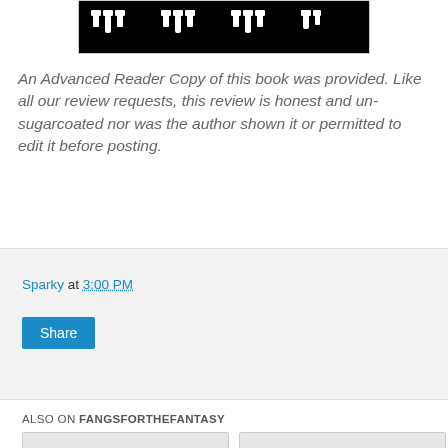[Figure (illustration): Book cover image with white fang/teeth graphics on black background]
An Advanced Reader Copy of this book was provided. Like all our review requests, this review is honest and un-sugarcoated nor was the author shown it or permitted to edit it before posting.
Sparky at 3:00 PM
Share
ALSO ON FANGSFORTHEFANTASY
[Figure (screenshot): Card: rs ago • 4 comments — Fangs For The Fantasy: Van]
[Figure (screenshot): Card: 4 years ago • 4 comments — Fangs For The Fantasy:]